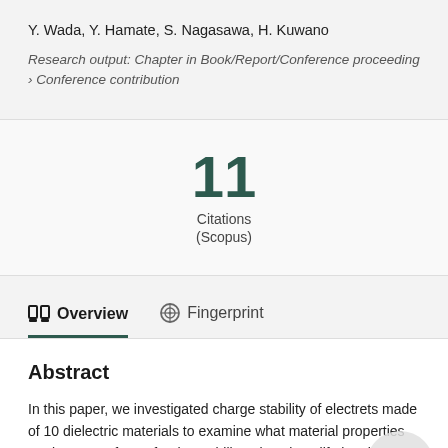Y. Wada, Y. Hamate, S. Nagasawa, H. Kuwano
Research output: Chapter in Book/Report/Conference proceeding › Conference contribution
11
Citations
(Scopus)
Overview
Fingerprint
Abstract
In this paper, we investigated charge stability of electrets made of 10 dielectric materials to examine what material properties are important factor for the stability. Since long lifetime is preferable for electrets energy harvester, charge stability of electret is one of the most important issue in